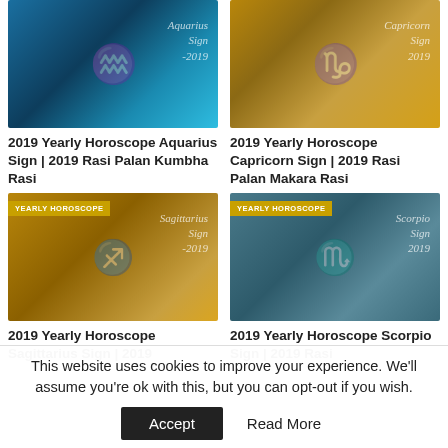[Figure (illustration): Aquarius Sign 2019 horoscope card image with blue zodiac wheel background and italic script text]
[Figure (illustration): Capricorn Sign 2019 horoscope card image with golden brown zodiac background and silver goat symbol]
2019 Yearly Horoscope Aquarius Sign | 2019 Rasi Palan Kumbha Rasi
2019 Yearly Horoscope Capricorn Sign | 2019 Rasi Palan Makara Rasi
[Figure (illustration): Sagittarius Sign 2019 horoscope card image with golden zodiac wheel and archer figure, YEARLY HOROSCOPE badge]
[Figure (illustration): Scorpio Sign 2019 horoscope card image with teal zodiac wheel and scorpion figure, YEARLY HOROSCOPE badge]
2019 Yearly Horoscope Sagittarius Sign | 2019
2019 Yearly Horoscope Scorpio Sign | 2019 Rasi
This website uses cookies to improve your experience. We'll assume you're ok with this, but you can opt-out if you wish.